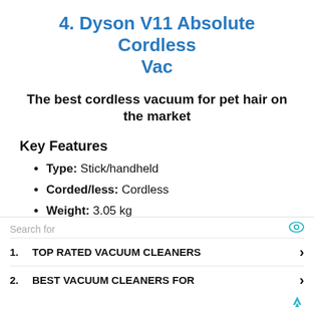4. Dyson V11 Absolute Cordless Vac
The best cordless vacuum for pet hair on the market
Key Features
Type: Stick/handheld
Corded/less: Cordless
Weight: 3.05 kg
Capacity: 0.76L
Pet tool: No (does have mini motorised tool)
Search for
1. TOP RATED VACUUM CLEANERS
2. BEST VACUUM CLEANERS FOR